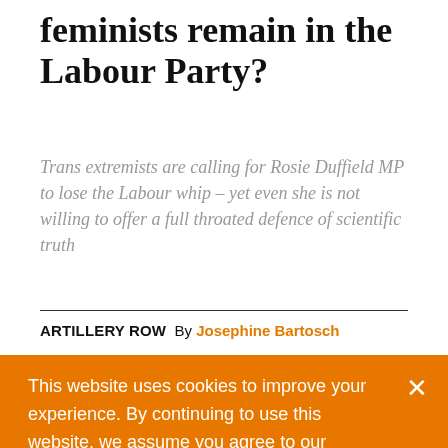feminists remain in the Labour Party?
Trans extremists are calling for Rosie Duffield MP to lose the Labour whip – yet even she is not willing to offer a full throated defence of scientific truth
ARTILLERY ROW  By Josephine Bartosch
This website uses cookies to improve your experience. By continuing to use this website, we assume you agree to our Cookies Policy.